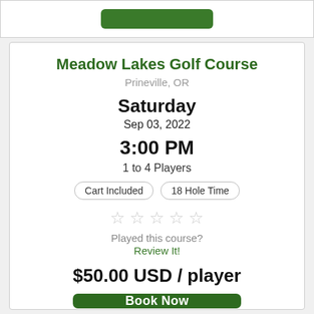Meadow Lakes Golf Course
Prineville, OR
Saturday
Sep 03, 2022
3:00 PM
1 to 4 Players
Cart Included
18 Hole Time
Played this course?
Review It!
$50.00 USD / player
Book Now